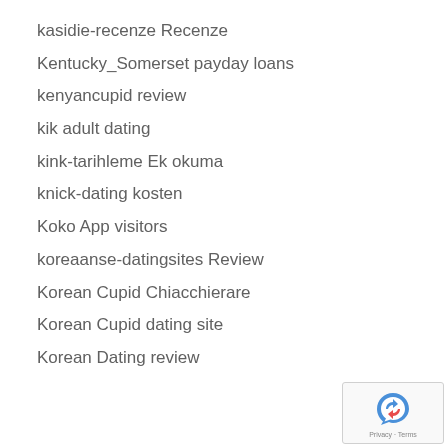kasidie-recenze Recenze
Kentucky_Somerset payday loans
kenyancupid review
kik adult dating
kink-tarihleme Ek okuma
knick-dating kosten
Koko App visitors
koreaanse-datingsites Review
Korean Cupid Chiacchierare
Korean Cupid dating site
Korean Dating review
[Figure (logo): reCAPTCHA privacy badge with circular arrow icon and Privacy - Terms text]